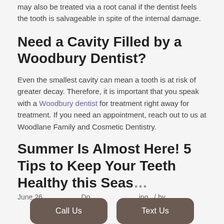may also be treated via a root canal if the dentist feels the tooth is salvageable in spite of the internal damage.
Need a Cavity Filled by a Woodbury Dentist?
Even the smallest cavity can mean a tooth is at risk of greater decay. Therefore, it is important that you speak with a Woodbury dentist for treatment right away for treatment. If you need an appointment, reach out to us at Woodlane Family and Cosmetic Dentistry.
Summer Is Almost Here! 5 Tips to Keep Your Teeth Healthy this Seas…
June 26 … Do… …ing / by